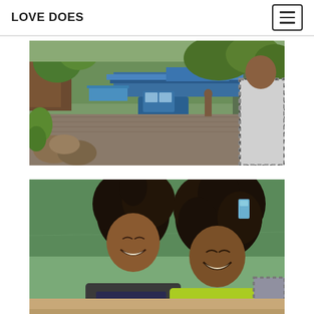LOVE DOES
[Figure (photo): Street market scene in Ethiopia with a blue pickup truck on a cobblestone road, market stalls with blue tarps, sacks of goods, banana plants, and a man in a plaid shirt on the right]
[Figure (photo): Two young Ethiopian girls laughing and smiling in a classroom setting with a green chalkboard behind them showing '2x', one wearing a dark shirt and the other a yellow-green shirt with a blue note in her hair]